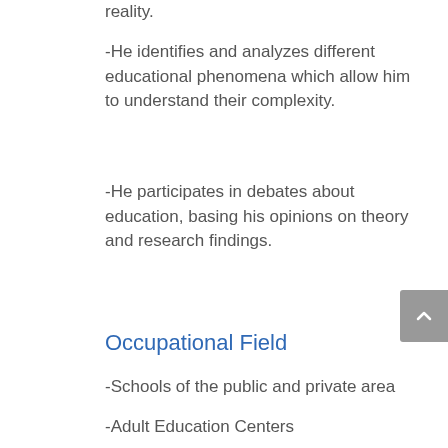reality.
-He identifies and analyzes different educational phenomena which allow him to understand their complexity.
-He participates in debates about education, basing his opinions on theory and research findings.
Occupational Field
-Schools of the public and private area
-Adult Education Centers